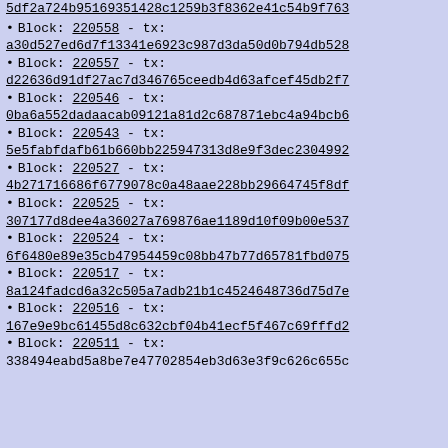Block: 220558 - tx: a30d527ed6d7f13341e6923c987d3da50d0b794db528
Block: 220557 - tx: d22636d91df27ac7d346765ceedb4d63afcef45db2f7
Block: 220546 - tx: 0ba6a552dadaacab09121a81d2c687871ebc4a94bcb6
Block: 220543 - tx: 5e5fabfdafb61b660bb225947313d8e9f3dec2304992
Block: 220527 - tx: 4b271716686f6779078c0a48aae228bb29664745f8df
Block: 220525 - tx: 307177d8dee4a36027a769876ae1189d10f09b00e537
Block: 220524 - tx: 6f6480e89e35cb47954459c08bb47b77d65781fbd075
Block: 220517 - tx: 8a124fadcd6a32c505a7adb21b1c4524648736d75d7e
Block: 220516 - tx: 167e9e9bc61455d8c632cbf04b41ecf5f467c69fffd2
Block: 220511 - tx: 338494eabd5a8be7e47702854eb3d63e3f9c626c655c